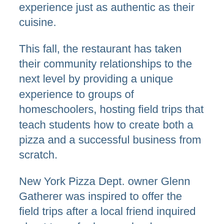experience just as authentic as their cuisine.
This fall, the restaurant has taken their community relationships to the next level by providing a unique experience to groups of homeschoolers, hosting field trips that teach students how to create both a pizza and a successful business from scratch.
New York Pizza Dept. owner Glenn Gatherer was inspired to offer the field trips after a local friend inquired about tours for homeschoolers.
“My wife Krista and I talked it over and came up with the idea to offer